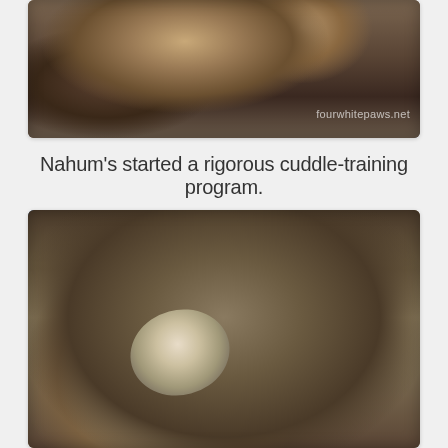[Figure (photo): Close-up photo of a cat resting on brown fabric, with a watermark 'fourwhitepaws.net' visible in the lower right]
Nahum's started a rigorous cuddle-training program.
[Figure (photo): Photo of a tabby cat lying on its back on a floral patterned surface, head tilted back, showing its ear and belly fur]